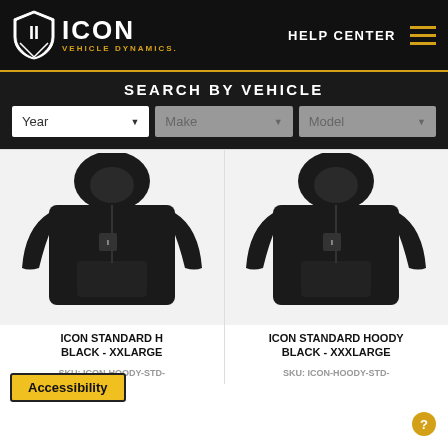ICON VEHICLE DYNAMICS | HELP CENTER
SEARCH BY VEHICLE
[Figure (screenshot): Three dropdown menus: Year, Make, Model for vehicle search]
[Figure (photo): Black hoodie sweatshirt with ICON Vehicle Dynamics logo on chest - left product]
[Figure (photo): Black hoodie sweatshirt with ICON Vehicle Dynamics logo on chest - right product]
ICON STANDARD HOODY BLACK - XXLARGE
SKU: ICON-HOODY-STD-
ICON STANDARD HOODY BLACK - XXXLARGE
SKU: ICON-HOODY-STD-